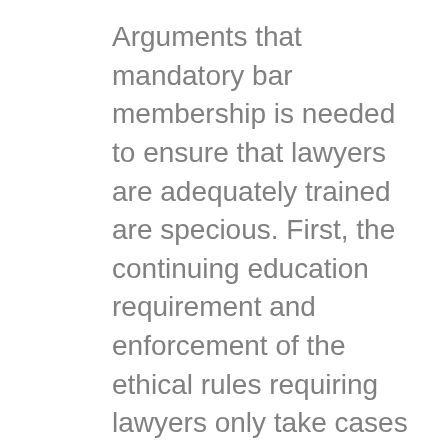Arguments that mandatory bar membership is needed to ensure that lawyers are adequately trained are specious. First, the continuing education requirement and enforcement of the ethical rules requiring lawyers only take cases that they are qualified to handle fall within the regulatory sphere, and thus would be unaffected by this legislation. Second, the medical profession has managed to have its professional associations be separate from government, and those professionals literally make life-or-death decisions. Third, other trade associations, such as AACJ for criminal defense lawyers, APAAC for prosecutors, ATLA, AILA, etc., as well as county bar associations, provide the same services without the power of government behind them.
Finally, this is hardly a revolutionary concept. Barely half the states have a mandatory bar, and